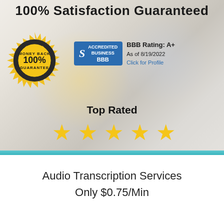100% Satisfaction Guaranteed
[Figure (logo): Gold circular money-back guarantee badge with '100%' in center, 'MONEY BACK' at top, 'GUARANTEE' at bottom, stars around edge]
[Figure (logo): BBB Accredited Business badge in blue with stylized S logo, text 'ACCREDITED BUSINESS' and 'BBB', alongside BBB Rating: A+, As of 8/19/2022, Click for Profile]
Top Rated
[Figure (illustration): Five gold star rating icons]
Audio Transcription Services Only $0.75/Min